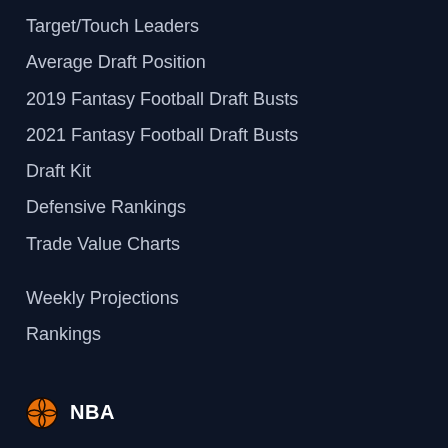Target/Touch Leaders
Average Draft Position
2019 Fantasy Football Draft Busts
2021 Fantasy Football Draft Busts
Draft Kit
Defensive Rankings
Trade Value Charts
Weekly Projections
Rankings
NBA
Fantasy Basketball Tools
Trade Analyzer
Start/Sit Tool
Rate My Team
Fantasy Basketball Assistant
Fantasy Basketball Draft Assistant